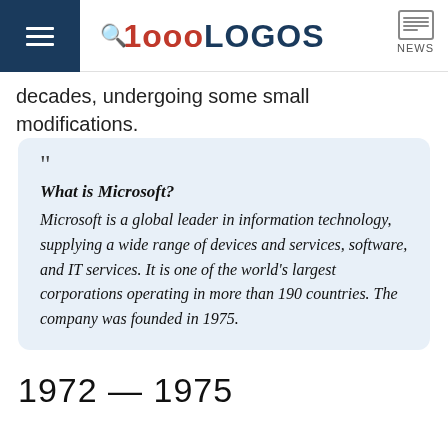1000LOGOS NEWS
decades, undergoing some small modifications.
" What is Microsoft? Microsoft is a global leader in information technology, supplying a wide range of devices and services, software, and IT services. It is one of the world's largest corporations operating in more than 190 countries. The company was founded in 1975.
1972 — 1975